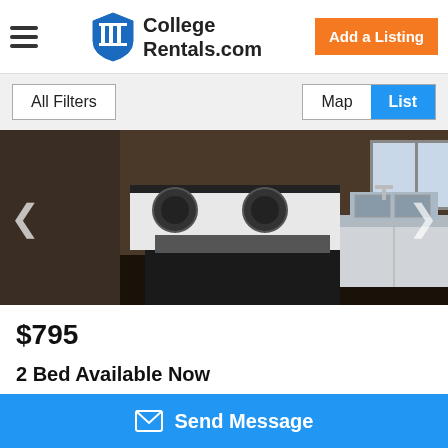College Rentals.com
All Filters | Map | List
[Figure (photo): Kitchen photo showing a white electric stove/range with black burners and oven, and a stainless steel double sink with countertop on the right side.]
$795
2 Bed Available Now
6.6 miles from campus
Send Message